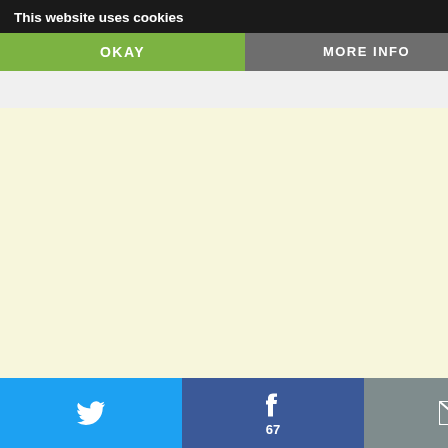This website uses cookies
OKAY
MORE INFO
ultimate defeat. By the time only too well Croats and Muslims had momentum spread thin and beginning to demo... you are 'st... direct... motivation is... the actual owner protecting and wa... their loss) ...who knows what would the world powers not saved the Ser... them to achieve most of their conqu...
Like
Michael Silovic says:
February 26, 2013 at 5:06 pm
(quote) The ideology you are behind ( a sick Fascism – the Balkans way.

I make no apologies for my views. I am nationalist and will always be one unti...
67